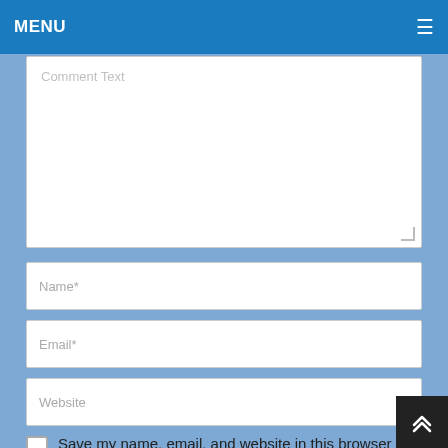MENU
Comment Text
Name*
Email*
Website
Save my name, email, and website in this browser for the next time I comment.